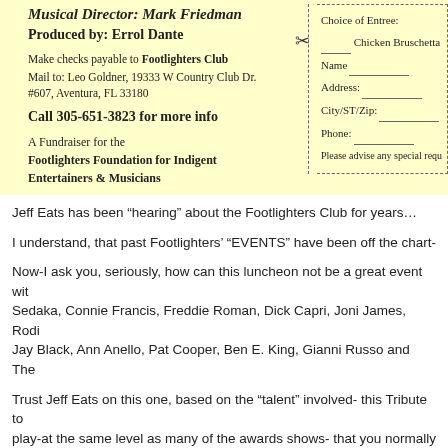[Figure (other): Flyer section with yellow background showing event details: Musical Director Mark Friedman, Produced by Errol Dante, payment and mailing info, phone number, fundraiser info, and a tear-off reservation form with choice of entree, name, address, city/ST/zip, phone fields.]
Jeff Eats has been “hearing” about the Footlighters Club for years…
I understand, that past Footlighters’ “EVENTS” have been off the chart-
Now-I ask you, seriously, how can this luncheon not be a great event with Sedaka, Connie Francis, Freddie Roman, Dick Capri, Joni James, Rodi Jay Black, Ann Anello, Pat Cooper, Ben E. King, Gianni Russo and The
Trust Jeff Eats on this one, based on the “talent” involved- this Tribute to play-at the same level as many of the awards shows- that you normally
Jeff Eats and Mrs. Jeff Eats are gonna be at the Neil Sedaka Tribute-on 2015.
A suggestion for you-guys out there…put the tee shirt/shorts/flip flops aw throw on a pair of pants, maybe even a sports jacket-and come have a g